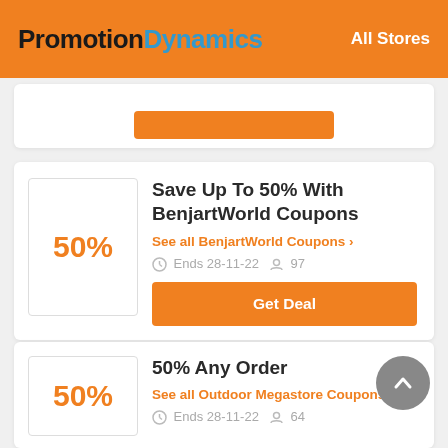PromotionDynamics — All Stores
[Figure (screenshot): Partially visible top coupon card with orange button]
Save Up To 50% With BenjartWorld Coupons
See all BenjartWorld Coupons >
Ends 28-11-22  97
Get Deal
50% Any Order
See all Outdoor Megastore Coupons >
Ends 28-11-22  64